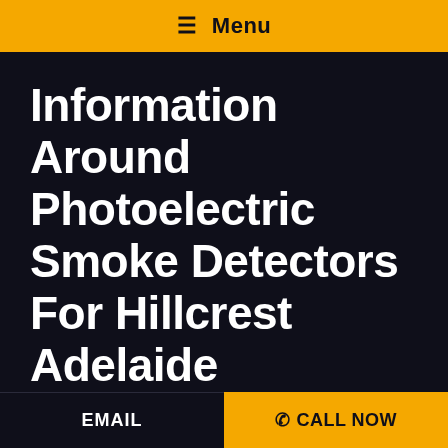≡ Menu
Information Around Photoelectric Smoke Detectors For Hillcrest Adelaide
Photoelectric smoke detectors operate with
EMAIL   ☎ CALL NOW